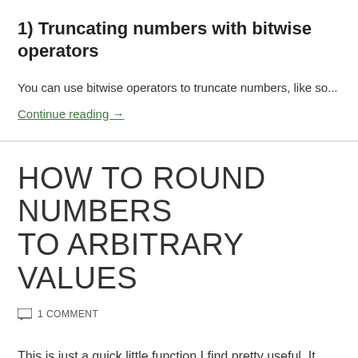1) Truncating numbers with bitwise operators
You can use bitwise operators to truncate numbers, like so...
Continue reading →
HOW TO ROUND NUMBERS TO ARBITRARY VALUES
1 COMMENT
This is just a quick little function I find pretty useful. It allows you to round any number to an arbitrary value, and can be useful for when you're working with and rendering to a grid or